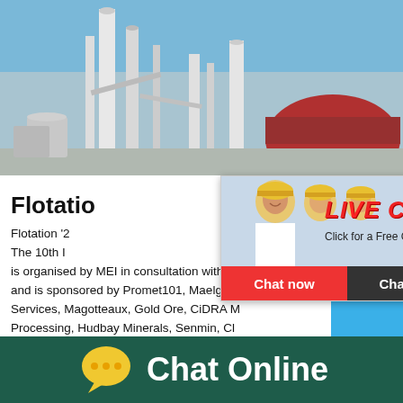[Figure (photo): Industrial plant/factory photograph showing tall towers, pipes, and a red dome structure against a blue sky]
Flotatio...
Flotation '2... The 10th I... is organised by MEI in consultation with P... and is sponsored by Promet101, Maelgwy... Services, Magotteaux, Gold Ore, CiDRA M... Processing, Hudbay Minerals, Senmin, Cl...
[Figure (screenshot): Live chat popup overlay with woman in hard hat, LIVE CHAT heading in red italic, Click for a Free Consultation subtext, Chat now (red) and Chat later (dark) buttons]
[Figure (screenshot): Right sidebar widget with blue background showing 'hour online' text, a cone crusher machine image, and 'Click me to chat>>' button]
[Figure (infographic): Dark teal footer bar with yellow speech bubble chat icon and 'Chat Online' text in white]